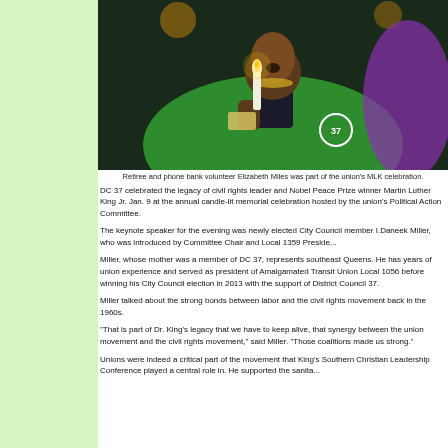[Figure (photo): A woman wearing a green DC 37 jacket holding a lit candle at a candlelight memorial celebration for MLK.]
Retiree and phone bank volunteer Elizabeth Miles was part of the union's MLK celebration.
DC 37 celebrated the legacy of civil rights leader and Nobel Peace Prize winner Martin Luther King Jr. Jan. 9 at the annual candle-lit memorial celebration hosted by the union's Political Action Committee.
The keynote speaker for the evening was newly elected City Council member I.Daneek Miller, who was introduced by Committee Chair and Local 1359 President...
Miller, whose mother was a member of DC 37, represents southeast Queens. He has years of union experience and served as president of Amalgamated Transit Union Local 1056 before winning his City Council election in 2013 with the support of District Council 37.
Miller talked about the strong bonds between labor and the civil rights movement back in the 1960s.
"That is part of Dr. King's legacy that we have to keep alive, that synergy between the union movement and the civil rights movement," said Miller. "Those coalitions made us strong."
Unions were indeed a critical part of the movement that King's Southern Christian Leadership Conference played a central role in. He supported the sanita...